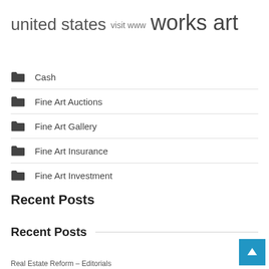united states  visit www  works art
Cash
Fine Art Auctions
Fine Art Gallery
Fine Art Insurance
Fine Art Investment
Recent Posts
Recent Posts
Real Estate Reform – Editorials